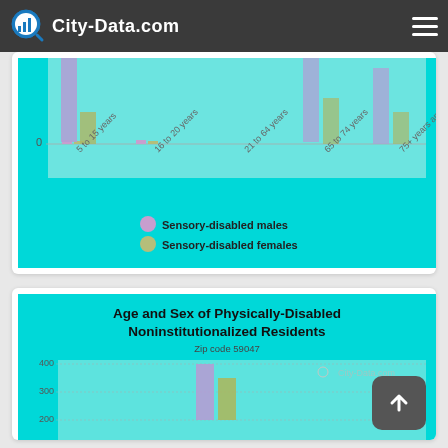City-Data.com
[Figure (grouped-bar-chart): Partial chart visible showing bottom portion with x-axis labels and legend]
[Figure (grouped-bar-chart): Partially visible bar chart with y-axis labels 400, 300, 200]